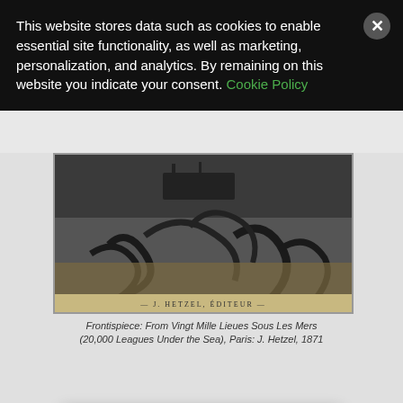This website stores data such as cookies to enable essential site functionality, as well as marketing, personalization, and analytics. By remaining on this website you indicate your consent. Cookie Policy
[Figure (illustration): Black and white engraving of a giant squid or sea creature attacking a ship, with tentacles. From a Jules Verne novel frontispiece. Bottom reads: — J. HETZEL, ÉDITEUR —]
Frontispiece: From Vingt Mille Lieues Sous Les Mers (20,000 Leagues Under the Sea), Paris: J. Hetzel, 1871
[Figure (screenshot): Email signup popup overlay: 'Join our email list to learn how BookBaby can help you publish!' with an email input field and a 'Sign Me Up' button]
“Toda dystop ms so hard t to a sustai oring. Why s ith